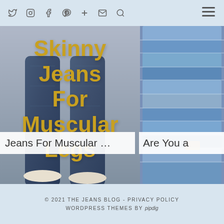Navigation bar with social icons: Twitter, Instagram, Facebook, Pinterest, Plus, Email, Search, and Hamburger menu
[Figure (photo): Left panel: person wearing skinny jeans photographed from waist down, with large bold yellow text overlay reading 'Skinny Jeans For Muscular Legs']
Jeans For Muscular …
[Figure (photo): Right panel: stack of folded blue denim jeans piled high]
Are You a
© 2021 THE JEANS BLOG - PRIVACY POLICY
WORDPRESS THEMES BY pipdig